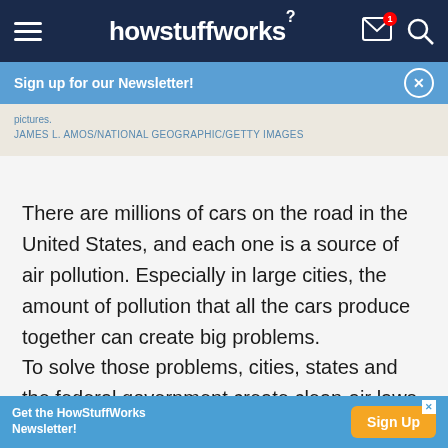howstuffworks
Sign up for our Newsletter!
pictures.
JAMES L. AMOS/NATIONAL GEOGRAPHIC/GETTY IMAGES
There are millions of cars on the road in the United States, and each one is a source of air pollution. Especially in large cities, the amount of pollution that all the cars produce together can create big problems.
To solve those problems, cities, states and the federal government create clean-air laws that
Get the HowStuffWorks Newsletter! Sign Up